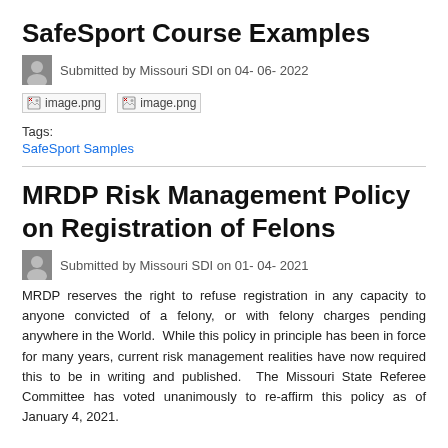SafeSport Course Examples
Submitted by Missouri SDI on 04- 06- 2022
[Figure (other): Two broken image placeholders labeled image.png]
Tags:
SafeSport Samples
MRDP Risk Management Policy on Registration of Felons
Submitted by Missouri SDI on 01- 04- 2021
MRDP reserves the right to refuse registration in any capacity to anyone convicted of a felony, or with felony charges pending anywhere in the World.  While this policy in principle has been in force for many years, current risk management realities have now required this to be in writing and published.  The Missouri State Referee Committee has voted unanimously to re-affirm this policy as of January 4, 2021.